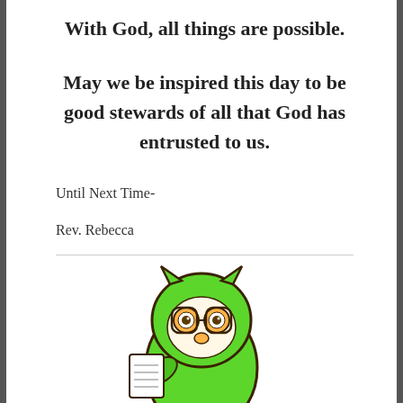With God, all things are possible.
May we be inspired this day to be good stewards of all that God has entrusted to us.
Until Next Time-
Rev. Rebecca
[Figure (illustration): Cartoon green owl with glasses holding a book or notepad, looking studious. Only the upper portion is visible.]